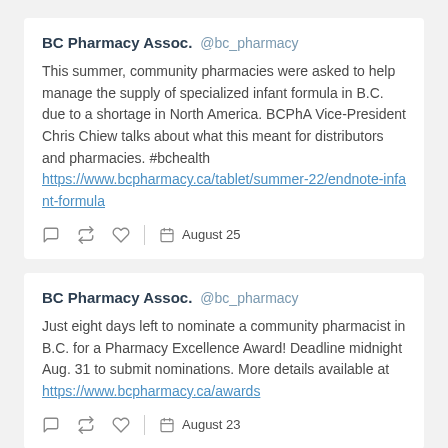BC Pharmacy Assoc. @bc_pharmacy — This summer, community pharmacies were asked to help manage the supply of specialized infant formula in B.C. due to a shortage in North America. BCPhA Vice-President Chris Chiew talks about what this meant for distributors and pharmacies. #bchealth https://www.bcpharmacy.ca/tablet/summer-22/endnote-infant-formula — August 25
BC Pharmacy Assoc. @bc_pharmacy — Just eight days left to nominate a community pharmacist in B.C. for a Pharmacy Excellence Award! Deadline midnight Aug. 31 to submit nominations. More details available at https://www.bcpharmacy.ca/awards — August 23